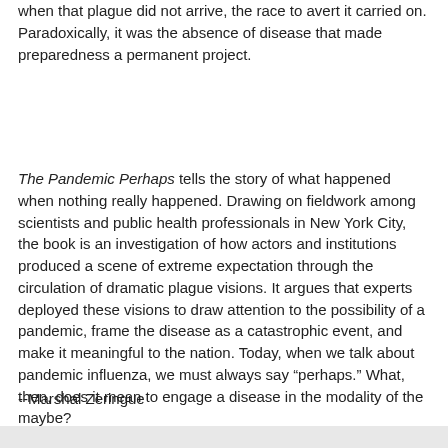when that plague did not arrive, the race to avert it carried on. Paradoxically, it was the absence of disease that made preparedness a permanent project.
The Pandemic Perhaps tells the story of what happened when nothing really happened. Drawing on fieldwork among scientists and public health professionals in New York City, the book is an investigation of how actors and institutions produced a scene of extreme expectation through the circulation of dramatic plague visions. It argues that experts deployed these visions to draw attention to the possibility of a pandemic, frame the disease as a catastrophic event, and make it meaningful to the nation. Today, when we talk about pandemic influenza, we must always say “perhaps.” What, then, does it mean to engage a disease in the modality of the maybe?
--Marshal Zeringue